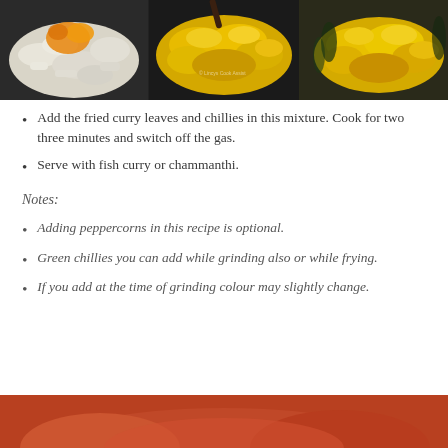[Figure (photo): Three-panel photo strip showing cooking steps: left panel shows diced onions in a pan with turmeric/egg visible; center panel shows yellow scrambled egg mixture being cooked in a dark pan; right panel shows fully cooked yellow egg and onion mixture in pan.]
Add the fried curry leaves and chillies in this mixture. Cook for two three minutes and switch off the gas.
Serve with fish curry or chammanthi.
Notes:
Adding peppercorns in this recipe is optional.
Green chillies you can add while grinding also or while frying.
If you add at the time of grinding colour may slightly change.
[Figure (photo): Bottom partial photo showing a reddish-orange cooked dish, partially visible at the bottom edge of the page.]